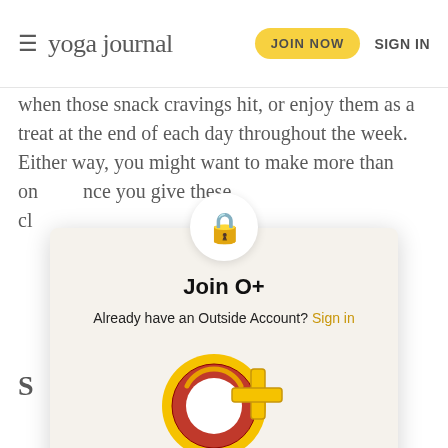yoga journal | JOIN NOW | SIGN IN
when those snack cravings hit, or enjoy them as a treat at the end of each day throughout the week. Either way, you might want to make more than on[ce you give these ch[ocolates a try].
S[ome Section]
[Figure (infographic): Paywall modal for Outside+ membership. Contains lock icon, 'Join O+' heading, sign in link, O+ logo graphic, 'All-Access' label in red, '$2.99 / month*' price, and 'JOIN OUTSIDE+' yellow button.]
Join O+
Already have an Outside Account? Sign in
All-Access
$2.99 / month*
JOIN OUTSIDE+